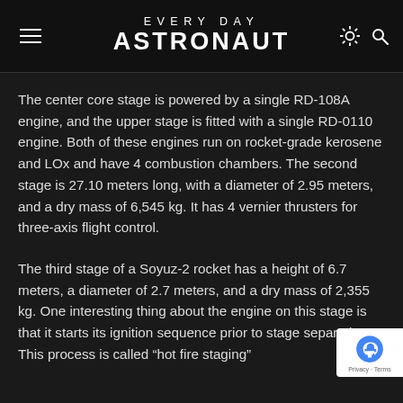EVERYDAY ASTRONAUT
The center core stage is powered by a single RD-108A engine, and the upper stage is fitted with a single RD-0110 engine. Both of these engines run on rocket-grade kerosene and LOx and have 4 combustion chambers. The second stage is 27.10 meters long, with a diameter of 2.95 meters, and a dry mass of 6,545 kg. It has 4 vernier thrusters for three-axis flight control.
The third stage of a Soyuz-2 rocket has a height of 6.7 meters, a diameter of 2.7 meters, and a dry mass of 2,355 kg. One interesting thing about the engine on this stage is that it starts its ignition sequence prior to stage separation. This process is called “hot fire staging”